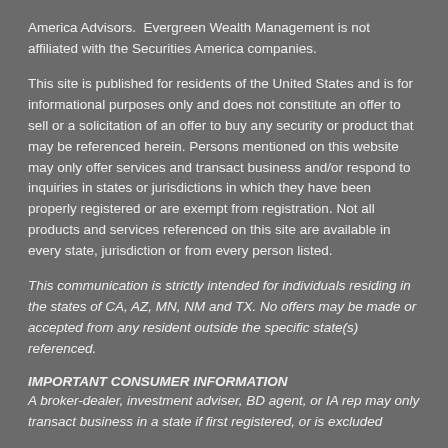America Advisors.  Evergreen Wealth Management is not affiliated with the Securities America companies.
This site is published for residents of the United States and is for informational purposes only and does not constitute an offer to sell or a solicitation of an offer to buy any security or product that may be referenced herein. Persons mentioned on this website may only offer services and transact business and/or respond to inquiries in states or jurisdictions in which they have been properly registered or are exempt from registration. Not all products and services referenced on this site are available in every state, jurisdiction or from every person listed.
This communication is strictly intended for individuals residing in the states of CA, AZ, MN, NM and TX. No offers may be made or accepted from any resident outside the specific state(s) referenced.
IMPORTANT CONSUMER INFORMATION
A broker-dealer, investment adviser, BD agent, or IA rep may only transact business in a state if first registered, or is excluded